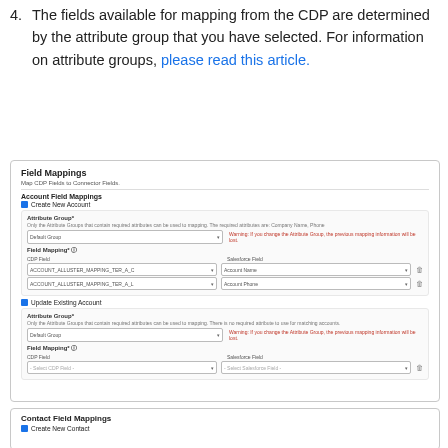4. The fields available for mapping from the CDP are determined by the attribute group that you have selected. For information on attribute groups, please read this article.
[Figure (screenshot): Screenshot of a Field Mappings UI panel showing Account Field Mappings section with Create New Account and Update Existing Account options, each with Attribute Group dropdowns, warning text in red, and Field Mapping rows for CDP Field and Salesforce Field with dropdown selects and delete icons.]
[Figure (screenshot): Partial screenshot of Contact Field Mappings section with Create New Contact checkbox visible at bottom.]